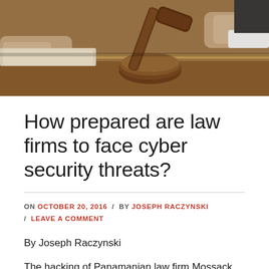[Figure (photo): A judge's gavel being struck on a wooden sound block on a desk, with hands visible in a courtroom or legal setting.]
How prepared are law firms to face cyber security threats?
ON OCTOBER 20, 2016 / BY JOSEPH RACZYNSKI / LEAVE A COMMENT
By Joseph Raczynski
The hacking of Panamanian law firm Mossack